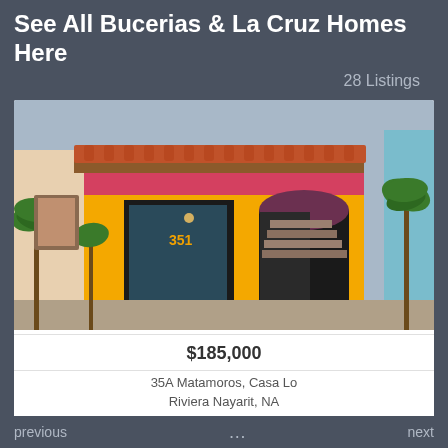See All Bucerias & La Cruz Homes Here
28 Listings
[Figure (photo): Exterior photo of a colorful Mexican-style home with yellow and pink facade, terracotta tile roof, open double doors, and palm trees on either side. Address number 351 visible on the building.]
$185,000
35A Matamoros, Casa Lo
Riviera Nayarit, NA
previous   next